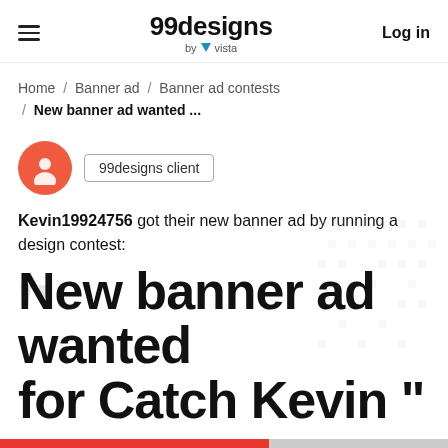99designs by vista  Log in
Home / Banner ad / Banner ad contests / New banner ad wanted ...
[Figure (illustration): 99designs client avatar icon — circular red/orange badge with white person silhouette, next to a bordered badge reading '99designs client']
Kevin19924756 got their new banner ad by running a design contest:
New banner ad wanted for Catch Kevin"